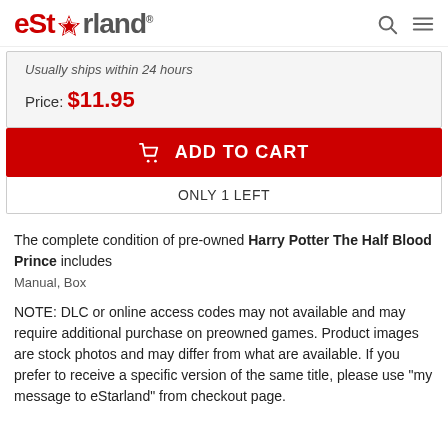eStarland®
Usually ships within 24 hours
Price: $11.95
ADD TO CART
ONLY 1 LEFT
The complete condition of pre-owned Harry Potter The Half Blood Prince includes
Manual, Box
NOTE: DLC or online access codes may not available and may require additional purchase on preowned games. Product images are stock photos and may differ from what are available. If you prefer to receive a specific version of the same title, please use "my message to eStarland" from checkout page.